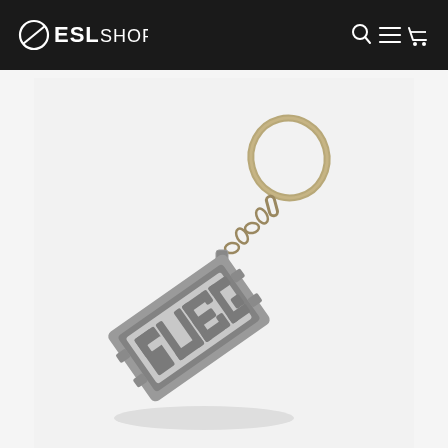ESL SHOP
[Figure (photo): A PUBG branded metal keychain with silver/pewter finish. The rectangular keychain pendant features the PUBG logo in bold lettering, attached via a small chain link to a large metal key ring. The keychain is displayed at an angle on a light gray/white background.]